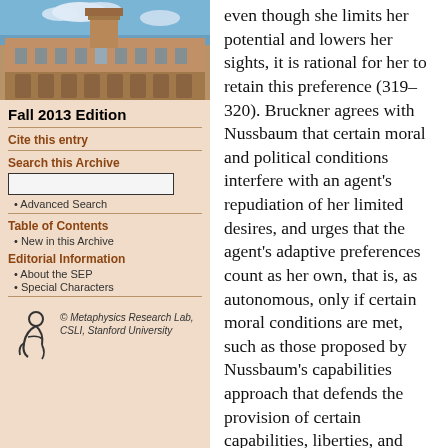[Figure (photo): Photograph of a university building (stone Gothic architecture) with blue sky and clouds]
Fall 2013 Edition
Cite this entry
Search this Archive
Advanced Search
Table of Contents
New in this Archive
Editorial Information
About the SEP
Special Characters
© Metaphysics Research Lab, CSLI, Stanford University
even though she limits her potential and lowers her sights, it is rational for her to retain this preference (319–320). Bruckner agrees with Nussbaum that certain moral and political conditions interfere with an agent's repudiation of her limited desires, and urges that the agent's adaptive preferences count as her own, that is, as autonomous, only if certain moral conditions are met, such as those proposed by Nussbaum's capabilities approach that defends the provision of certain capabilities, liberties, and opportunities to all citizens (322–323). Nussbaum's capabilities approach, unlike